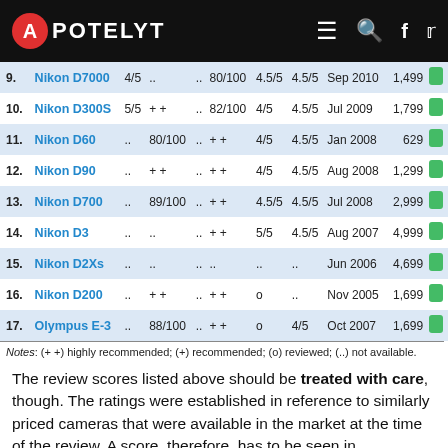APOTELYT
| # | Camera | col3 | col4 | col5 | col6 | col7 | col8 | Date | Price |  |
| --- | --- | --- | --- | --- | --- | --- | --- | --- | --- | --- |
| 9. | Nikon D7000 | 4/5 | .. | .. | 80/100 | 4.5/5 | 4.5/5 | Sep 2010 | 1,499 |  |
| 10. | Nikon D300S | 5/5 | ++ | .. | 82/100 | 4/5 | 4.5/5 | Jul 2009 | 1,799 |  |
| 11. | Nikon D60 | .. | 80/100 | .. | ++ | 4/5 | 4.5/5 | Jan 2008 | 629 |  |
| 12. | Nikon D90 | .. | ++ | .. | ++ | 4/5 | 4.5/5 | Aug 2008 | 1,299 |  |
| 13. | Nikon D700 | .. | 89/100 | .. | ++ | 4.5/5 | 4.5/5 | Jul 2008 | 2,999 |  |
| 14. | Nikon D3 | .. | .. | .. | ++ | 5/5 | 4.5/5 | Aug 2007 | 4,999 |  |
| 15. | Nikon D2Xs | .. | .. | .. | .. | .. | .. | Jun 2006 | 4,699 |  |
| 16. | Nikon D200 | .. | ++ | .. | ++ | o | .. | Nov 2005 | 1,699 |  |
| 17. | Olympus E-3 | .. | 88/100 | .. | ++ | o | 4/5 | Oct 2007 | 1,699 |  |
Notes: (++) highly recommended; (+) recommended; (o) reviewed; (..) not available.
The review scores listed above should be treated with care, though. The ratings were established in reference to similarly priced cameras that were available in the market at the time of the review. A score, therefore, has to be seen in